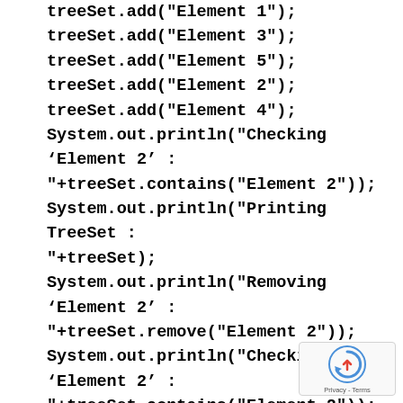treeSet.add("Element 1");
treeSet.add("Element 3");
treeSet.add("Element 5");
treeSet.add("Element 2");
treeSet.add("Element 4");
System.out.println("Checking ‘Element 2’ :"+treeSet.contains("Element 2"));
System.out.println("Printing TreeSet :"+treeSet);
System.out.println("Removing ‘Element 2’ :"+treeSet.remove("Element 2"));
System.out.println("Checking ‘Element 2’ :"+treeSet.contains("Element 2"));
System.out.println("Printing TreeSet :"+treeSet);
[Figure (other): reCAPTCHA privacy badge with circular arrow logo and 'Privacy - Terms' text]